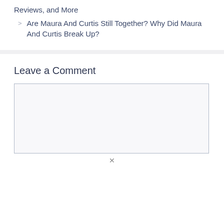Reviews, and More
Are Maura And Curtis Still Together? Why Did Maura And Curtis Break Up?
Leave a Comment